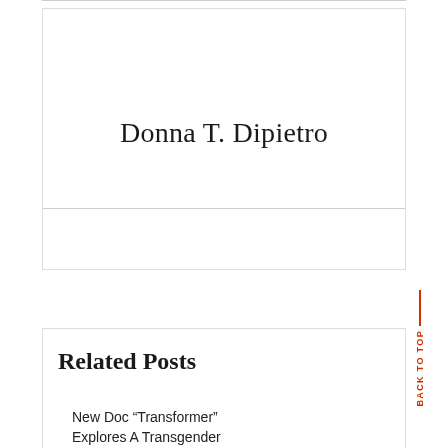Donna T. Dipietro
Related Posts
New Doc “Transformer” Explores A Transgender